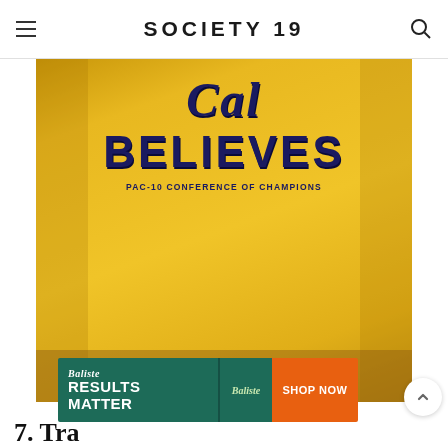SOCIETY 19
[Figure (photo): Yellow Cal Believes Pac-10 Conference of Champions t-shirt laid flat on a wooden floor]
[Figure (screenshot): Batiste Results Matter advertisement banner with Shop Now button]
7. Tra